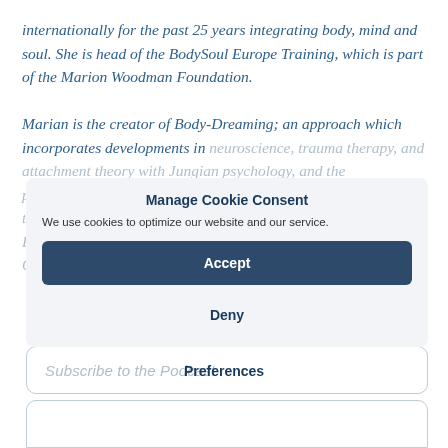internationally for the past 25 years integrating body, mind and soul. She is head of the BodySoul Europe Training, which is part of the Marion Woodman Foundation.
Marian is the creator of Body-Dreaming; an approach which incorporates developments in neuroscience, trauma therapy, and attachment theory with Jungian psychology, and the phenomenological standpoint of interconnectedness. Her trainings include Jungian Analysis, Psychoanalytic Psychotherapy, Psychosynthesis Psychotherapy, Infant Observation Supervision, and Somatic Experiencing.
Manage Cookie Consent
We use cookies to optimize our website and our service.
Accept
Deny
Subscribe to the Podcast
Preferences